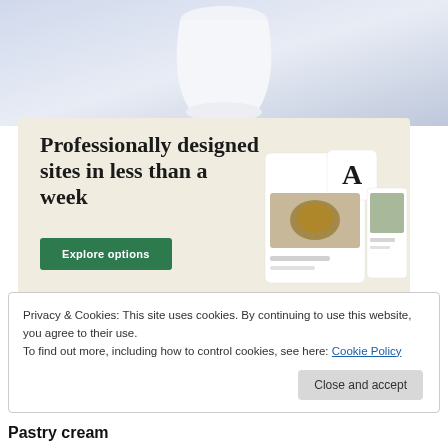[Figure (photo): Top portion of page showing a white lamp or vase against a light blue-gray background]
[Figure (screenshot): Advertisement banner with cream/beige background showing text 'Professionally designed sites in less than a week' with a green 'Explore options' button and website screenshots on the right]
Privacy & Cookies: This site uses cookies. By continuing to use this website, you agree to their use.
To find out more, including how to control cookies, see here: Cookie Policy
Close and accept
Pastry cream